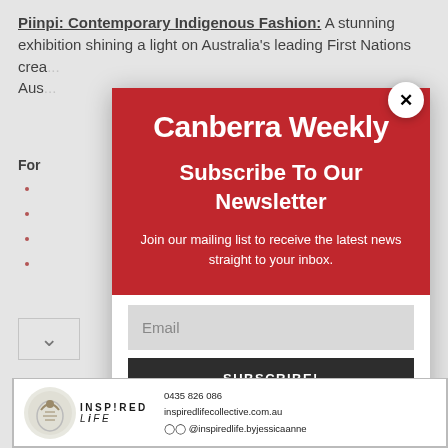Piinpi: Contemporary Indigenous Fashion: A stunning exhibition shining a light on Australia's leading First Nations creators... Aus...
For
(partially obscured red link text)
(partially obscured red link text)
(partially obscured red link text)
(partially obscured red link text)
[Figure (screenshot): Canberra Weekly newsletter subscription modal overlay on a webpage. Red header with white 'Canberra Weekly' logo text, 'Subscribe To Our Newsletter' heading, description text 'Join our mailing list to receive the latest news straight to your inbox.', an email input field, and a dark SUBSCRIBE! button. Close X button in top right corner.]
[Figure (logo): Inspired Life advertisement banner at bottom: circular logo, INSPIRED LIFE text, phone 0435 826 086, website inspiredlifecollective.com.au, social @inspiredlife.byjessicaanne]